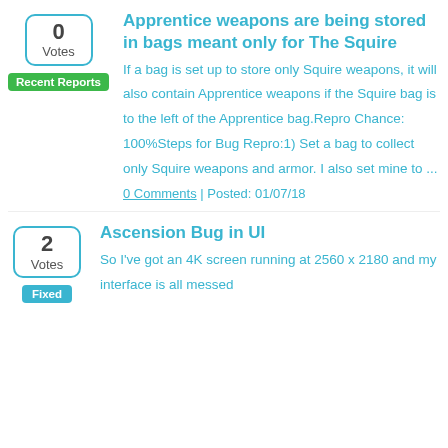Apprentice weapons are being stored in bags meant only for The Squire
If a bag is set up to store only Squire weapons, it will also contain Apprentice weapons if the Squire bag is to the left of the Apprentice bag.Repro Chance: 100%Steps for Bug Repro:1)  Set a bag to collect only Squire weapons and armor.  I also set mine to ...
0 Comments | Posted: 01/07/18
Ascension Bug in UI
So I've got an 4K screen running at 2560 x 2180 and my interface is all messed